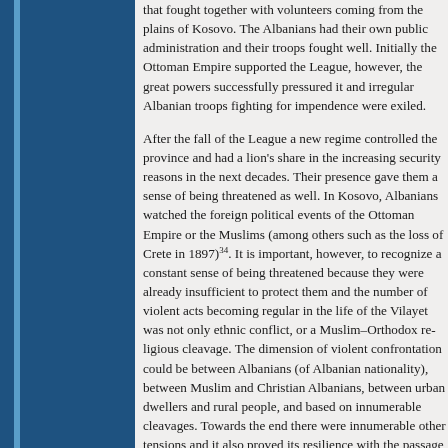that fought together with volunteers coming from the plains of Kosovo. The Albanians had their own public administration and their troops fought well. Initially the Ottoman Empire supported the League, however, the great powers successfully pressured it and irregular Albanian troops fighting for independence were exiled.
After the fall of the League a new regime controlled the province and had a lion's share in the increasing security reasons in the next decades. Their presence gave them a sense of being threatened as well. In Kosovo, Albanians watched the foreign political events of the Ottoman Empire or the Muslims (among others such as the loss of Crete in 1897)^34. It is important, however, to recognize a constant sense of being threatened because they were already insufficient to protect them and the number of violent acts becoming regular in the life of the Vilayet was not only ethnic conflict, or a Muslim–Orthodox religious cleavage. The dimension of violent confrontation could be between Albanians (of Albanian nationality), between Muslim and Christian Albanians, between urban dwellers and rural people, and based on innumerable cleavages. Towards the end there were many innumerable other tensions and it also proved its resilience with the passage of time^35.
Another consequence of the Eastern crisis was that the movement had set out on its way. The nationalism and modernisation challenge manifest in the culture of the Muslim majority people in which they...